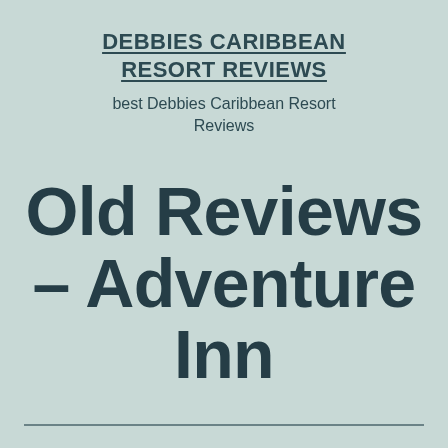DEBBIES CARIBBEAN RESORT REVIEWS
best Debbies Caribbean Resort Reviews
Old Reviews – Adventure Inn